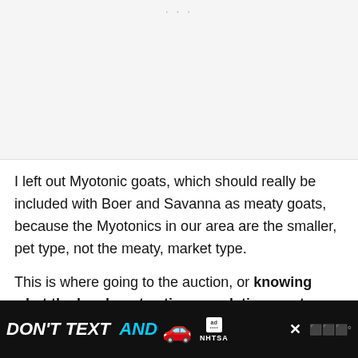[Figure (other): Gray advertisement placeholder area with three dots at the top center]
I left out Myotonic goats, which should really be included with Boer and Savanna as meaty goats, because the Myotonics in our area are the smaller, pet type, not the meaty, market type.
This is where going to the auction, or knowing what the local goat eating population wants really m…
[Figure (infographic): DON'T TEXT AND drive NHTSA advertisement banner in black with yellow and cyan text and a red car emoji]